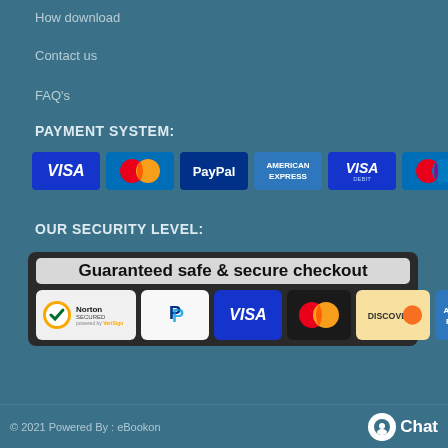How download
Contact us
FAQ's
PAYMENT SYSTEM:
[Figure (infographic): Payment method icons: VISA, Mastercard, PayPal, American Express, VISA Debit, Mastercard variant]
OUR SECURITY LEVEL:
[Figure (infographic): Guaranteed safe & secure checkout badge with Norton Secured, PayPal, VISA, Mastercard, Discover, American Express logos]
© 2021 Powered By : eBookon   Chat